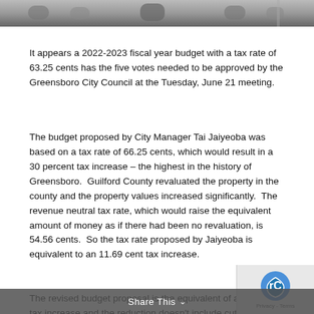[Figure (photo): Top cropped photo showing people at what appears to be a city council meeting room, partially visible at top of page]
It appears a 2022-2023 fiscal year budget with a tax rate of 63.25 cents has the five votes needed to be approved by the Greensboro City Council at the Tuesday, June 21 meeting.
The budget proposed by City Manager Tai Jaiyeoba was based on a tax rate of 66.25 cents, which would result in a 30 percent tax increase – the highest in the history of Greensboro.  Guilford County revaluated the property in the county and the property values increased significantly.  The revenue neutral tax rate, which would raise the equivalent amount of money as if there had been no revaluation, is 54.56 cents.  So the tax rate proposed by Jaiyeoba is equivalent to an 11.69 cent tax increase.
The revised budget proposal is the equivalent of an 8.6 cent tax increase and the reduction doesn't include cut much of anything from the bloated budget and, according to